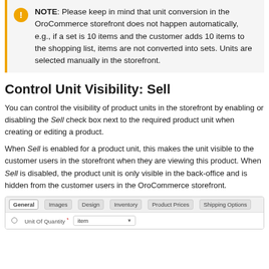NOTE: Please keep in mind that unit conversion in the OroCommerce storefront does not happen automatically, e.g., if a set is 10 items and the customer adds 10 items to the shopping list, items are not converted into sets. Units are selected manually in the storefront.
Control Unit Visibility: Sell
You can control the visibility of product units in the storefront by enabling or disabling the Sell check box next to the required product unit when creating or editing a product.
When Sell is enabled for a product unit, this makes the unit visible to the customer users in the storefront when they are viewing this product. When Sell is disabled, the product unit is only visible in the back-office and is hidden from the customer users in the OroCommerce storefront.
[Figure (screenshot): A product editing form screenshot showing tabs: General (active), Images, Design, Inventory, Product Prices, Shipping Options. Below the tabs is a field row with a radio button for 'Unit Of Quantity' with a dropdown input showing 'item'.]